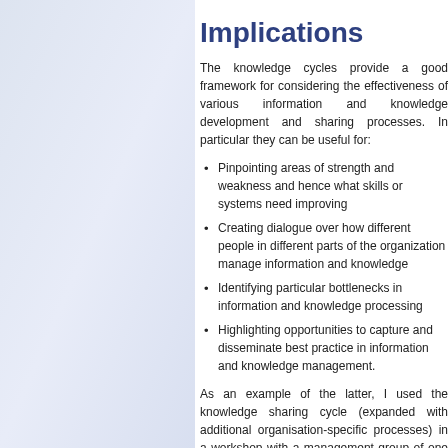Implications
The knowledge cycles provide a good framework for considering the effectiveness of various information and knowledge development and sharing processes. In particular they can be useful for:
Pinpointing areas of strength and weakness and hence what skills or systems need improving
Creating dialogue over how different people in different parts of the organization manage information and knowledge
Identifying particular bottlenecks in information and knowledge processing
Highlighting opportunities to capture and disseminate best practice in information and knowledge management.
As an example of the latter, I used the knowledge sharing cycle (expanded with additional organisation-specific processes) in a workshop with a management group of one of my clients. For each process two or three were instructed to find out more about the techniques involved and find examples of...